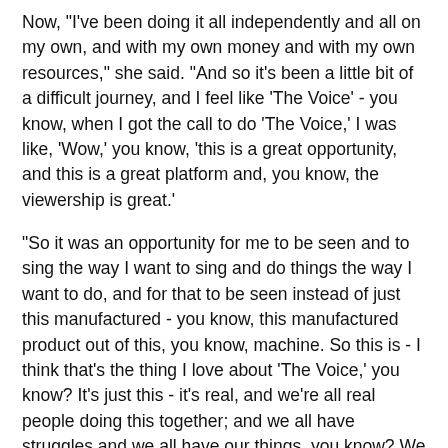Now, "I've been doing it all independently and all on my own, and with my own money and with my own resources," she said. "And so it's been a little bit of a difficult journey, and I feel like 'The Voice' - you know, when I got the call to do 'The Voice,' I was like, 'Wow,' you know, 'this is a great opportunity, and this is a great platform and, you know, the viewership is great.'
"So it was an opportunity for me to be seen and to sing the way I want to sing and do things the way I want to do, and for that to be seen instead of just this manufactured - you know, this manufactured product out of this, you know, machine. So this is - I think that's the thing I love about 'The Voice,' you know? It's just this - it's real, and we're all real people doing this together; and we all have struggles and we all have our things, you know? We all come from different places in life. And so it's really cool that this is kind of like, it's my second chance to do something that I really believe in."